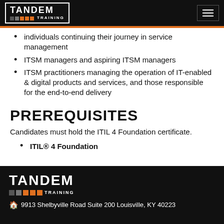Tandem Training — navigation bar with logo and hamburger menu
individuals continuing their journey in service management
ITSM managers and aspiring ITSM managers
ITSM practitioners managing the operation of IT-enabled & digital products and services, and those responsible for the end-to-end delivery
PREREQUISITES
Candidates must hold the ITIL 4 Foundation certificate.
ITIL® 4 Foundation
Tandem Training logo — 9913 Shelbyville Road Suite 200 Louisville, KY 40223